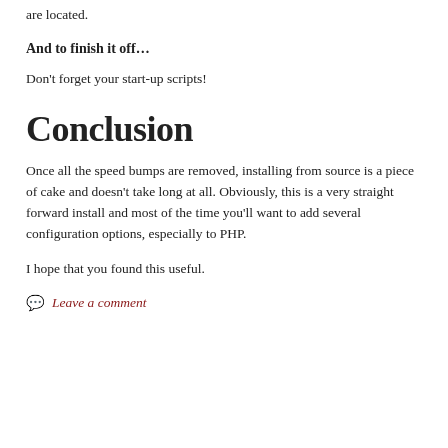are located.
And to finish it off…
Don't forget your start-up scripts!
Conclusion
Once all the speed bumps are removed, installing from source is a piece of cake and doesn't take long at all. Obviously, this is a very straight forward install and most of the time you'll want to add several configuration options, especially to PHP.
I hope that you found this useful.
Leave a comment